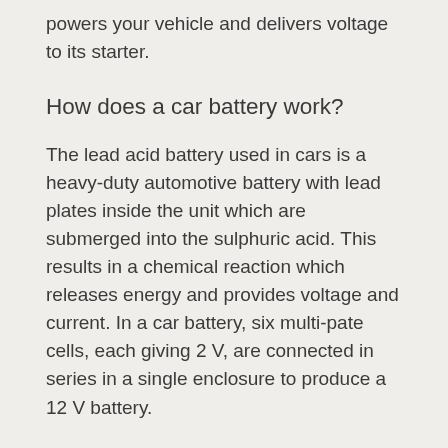powers your vehicle and delivers voltage to its starter.
How does a car battery work?
The lead acid battery used in cars is a heavy-duty automotive battery with lead plates inside the unit which are submerged into the sulphuric acid. This results in a chemical reaction which releases energy and provides voltage and current. In a car battery, six multi-pate cells, each giving 2 V, are connected in series in a single enclosure to produce a 12 V battery.